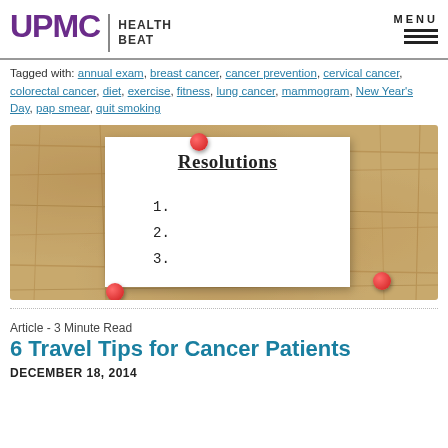UPMC HEALTH BEAT | MENU
Tagged with: annual exam, breast cancer, cancer prevention, cervical cancer, colorectal cancer, diet, exercise, fitness, lung cancer, mammogram, New Year's Day, pap smear, quit smoking
[Figure (photo): A resolutions note card pinned to a cork board with red push pins, listing numbered items 1. 2. 3. under the heading 'Resolutions']
Article - 3 Minute Read
6 Travel Tips for Cancer Patients
DECEMBER 18, 2014